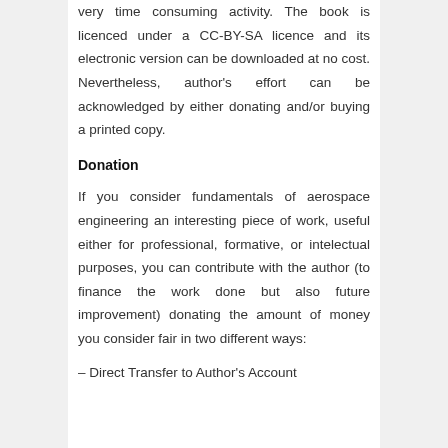very time consuming activity. The book is licenced under a CC-BY-SA licence and its electronic version can be downloaded at no cost. Nevertheless, author's effort can be acknowledged by either donating and/or buying a printed copy.
Donation
If you consider fundamentals of aerospace engineering an interesting piece of work, useful either for professional, formative, or intelectual purposes, you can contribute with the author (to finance the work done but also future improvement) donating the amount of money you consider fair in two different ways:
– Direct Transfer to Author's Account